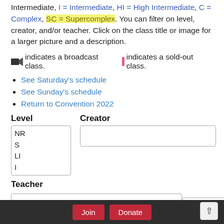Class ratings are: NR = Not Rated, S = Simple, LI = Low Intermediate, I = Intermediate, HI = High Intermediate, C = Complex, SC = Supercomplex. You can filter on level, creator, and/or teacher. Click on the class title or image for a larger picture and a description.
🎥 indicates a broadcast class. | indicates a sold-out class.
See Saturday's schedule
See Sunday's schedule
Return to Convention 2022
Level   Creator
NR
S
LI
I
HI
Teacher
Apply
Join   Donate   ↑